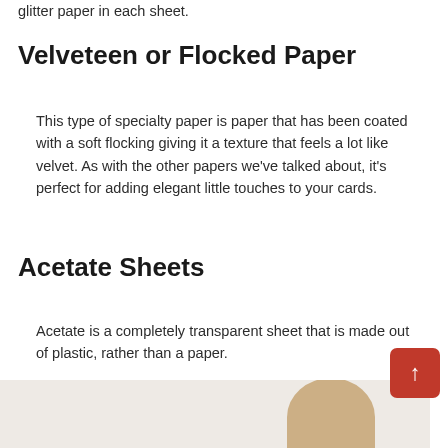glitter paper in each sheet.
Velveteen or Flocked Paper
This type of specialty paper is paper that has been coated with a soft flocking giving it a texture that feels a lot like velvet. As with the other papers we've talked about, it's perfect for adding elegant little touches to your cards.
Acetate Sheets
Acetate is a completely transparent sheet that is made out of plastic, rather than a paper.
[Figure (photo): Bottom portion of page showing a light beige/gray background with a tan colored object partially visible at the bottom right, consistent with a craft or paper-related image.]